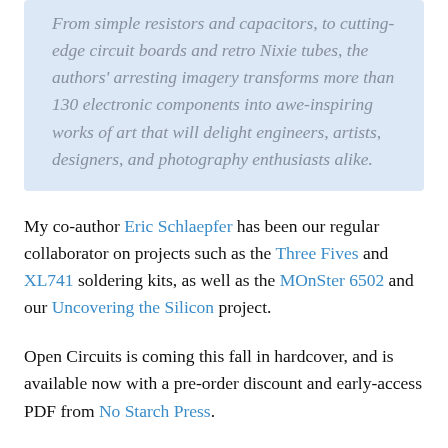From simple resistors and capacitors, to cutting-edge circuit boards and retro Nixie tubes, the authors' arresting imagery transforms more than 130 electronic components into awe-inspiring works of art that will delight engineers, artists, designers, and photography enthusiasts alike.
My co-author Eric Schlaepfer has been our regular collaborator on projects such as the Three Fives and XL741 soldering kits, as well as the MOnSter 6502 and our Uncovering the Silicon project.
Open Circuits is coming this fall in hardcover, and is available now with a pre-order discount and early-access PDF from No Starch Press.
It's also available to pre-order at your local bookstore — who we sincerely encourage you to support — as